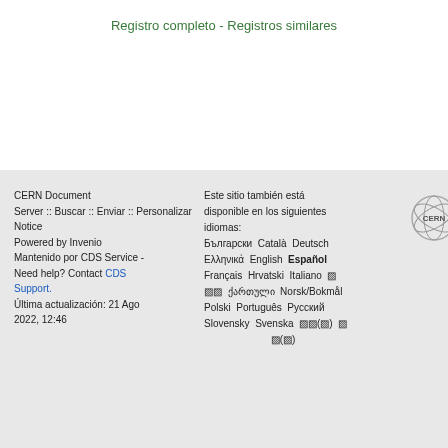Registro completo - Registros similares
CERN Document Server :: Buscar :: Enviar :: Personalizar :: Ayuda :: Privacidad Notice
Powered by Invenio
Mantenido por CDS Service - Need help? Contact CDS Support.
Última actualización: 21 Ago 2022, 12:46
Este sitio también está disponible en los siguientes idiomas:
Български Català Deutsch Ελληνικά English Español Français Hrvatski Italiano 日本語 한국어 ქართული Norsk/Bokmål Polski Português Русский Slovensky Svenska 中文(简) 繁體中文(正體) 中文(台)